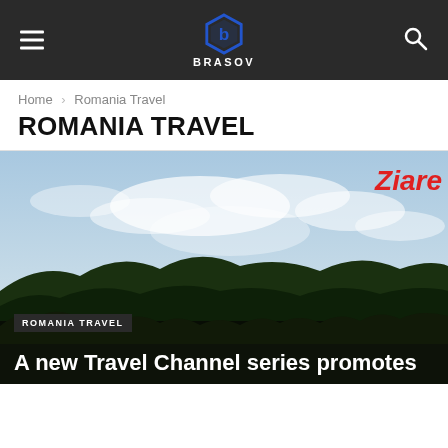BRASOV
Home › Romania Travel
ROMANIA TRAVEL
[Figure (photo): Landscape photograph showing forested hills under a cloudy sky, with a 'Ziare' watermark in red italic text at the top right corner.]
ROMANIA TRAVEL
A new Travel Channel series promotes